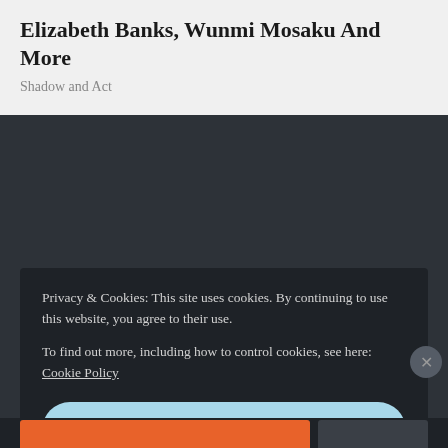Elizabeth Banks, Wunmi Mosaku And More
Shadow and Act
Privacy & Cookies: This site uses cookies. By continuing to use this website, you agree to their use.
To find out more, including how to control cookies, see here: Cookie Policy
Close and accept